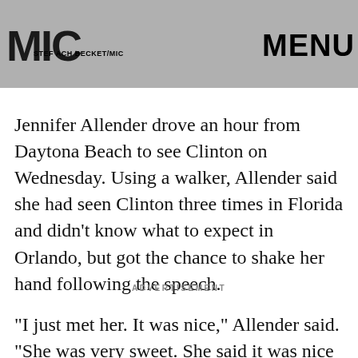[Figure (photo): Top portion of a photo showing people, partially obscured by logo and UI elements]
MIC
STEF ACH BECKET/MIC
MENU
Jennifer Allender drove an hour from Daytona Beach to see Clinton on Wednesday. Using a walker, Allender said she had seen Clinton three times in Florida and didn't know what to expect in Orlando, but got the chance to shake her hand following the speech.
ADVERTISEMENT
"I just met her. It was nice," Allender said. "She was very sweet. She said it was nice to meet you."